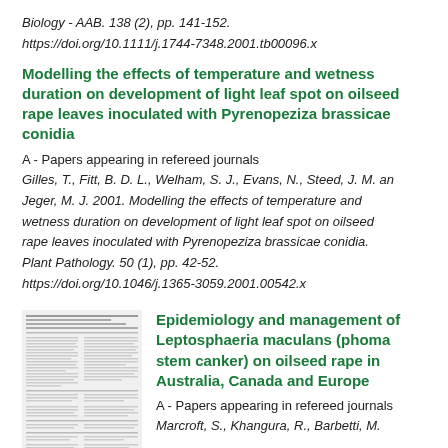Biology - AAB. 138 (2), pp. 141-152.
https://doi.org/10.1111/j.1744-7348.2001.tb00096.x
Modelling the effects of temperature and wetness duration on development of light leaf spot on oilseed rape leaves inoculated with Pyrenopeziza brassicae conidia
A - Papers appearing in refereed journals
Gilles, T., Fitt, B. D. L., Welham, S. J., Evans, N., Steed, J. M. and Jeger, M. J. 2001. Modelling the effects of temperature and wetness duration on development of light leaf spot on oilseed rape leaves inoculated with Pyrenopeziza brassicae conidia. Plant Pathology. 50 (1), pp. 42-52.
https://doi.org/10.1046/j.1365-3059.2001.00542.x
[Figure (other): Thumbnail preview of a scientific journal article page with two-column text layout]
Epidemiology and management of Leptosphaeria maculans (phoma stem canker) on oilseed rape in Australia, Canada and Europe
A - Papers appearing in refereed journals